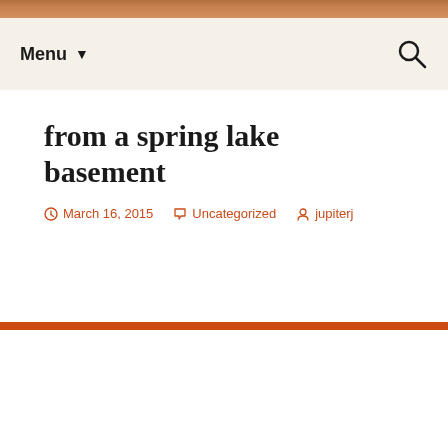[Figure (photo): Partial photo strip visible at top of page, warm orange/brown tones]
Menu ▼
from a spring lake basement
March 16, 2015   Uncategorized   jupiterj